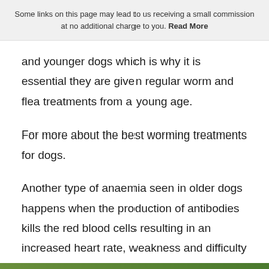Some links on this page may lead to us receiving a small commission at no additional charge to you. Read More
and younger dogs which is why it is essential they are given regular worm and flea treatments from a young age.
For more about the best worming treatments for dogs.
Another type of anaemia seen in older dogs happens when the production of antibodies kills the red blood cells resulting in an increased heart rate, weakness and difficulty breathing. It is diagnosed by blood tests